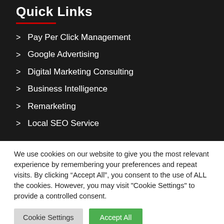Quick Links
Pay Per Click Management
Google Advertising
Digital Marketing Consulting
Business Intelligence
Remarketing
Local SEO Service
We use cookies on our website to give you the most relevant experience by remembering your preferences and repeat visits. By clicking “Accept All”, you consent to the use of ALL the cookies. However, you may visit “Cookie Settings” to provide a controlled consent.